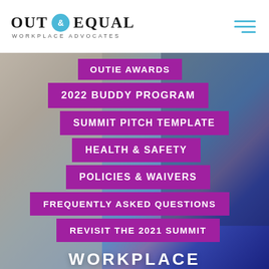[Figure (logo): Out & Equal Workplace Advocates logo with teal ampersand circle]
[Figure (photo): Navigation menu overlay on photo of people standing, wearing business casual attire, with gradient blue/purple background]
OUTIE AWARDS
2022 BUDDY PROGRAM
SUMMIT PITCH TEMPLATE
HEALTH & SAFETY
POLICIES & WAIVERS
FREQUENTLY ASKED QUESTIONS
REVISIT THE 2021 SUMMIT
WORKPLACE